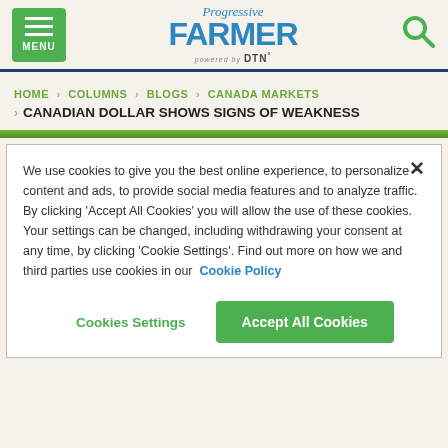Progressive Farmer powered by DTN — MENU | Search
HOME > COLUMNS > BLOGS > CANADA MARKETS > CANADIAN DOLLAR SHOWS SIGNS OF WEAKNESS
We use cookies to give you the best online experience, to personalize content and ads, to provide social media features and to analyze traffic. By clicking 'Accept All Cookies' you will allow the use of these cookies. Your settings can be changed, including withdrawing your consent at any time, by clicking 'Cookie Settings'. Find out more on how we and third parties use cookies in our Cookie Policy
Cookies Settings | Accept All Cookies